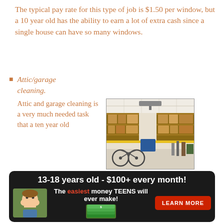The typical pay rate for this type of job is $1.50 per window, but a 10 year old has the ability to earn a lot of extra cash since a single house can have so many windows.
Attic/garage cleaning. Attic and garage cleaning is a very much needed task that a ten year old pre-teenager can perform. This type of work involves filling and moving boxes, disposing of junk and sweeping and removing dust and dirt. Attic and garage cleaning work can take the whole day sometimes; depending on the amount of junk to be removed.
[Figure (photo): Photo of a garage interior with shelving units full of boxes, bicycles and various items stored on upper shelves]
[Figure (infographic): Advertisement banner: '13-18 years old - $100+ every month!' with tagline 'The easiest money TEENS will ever make!' and a Learn More button. Shows a child and money imagery.]